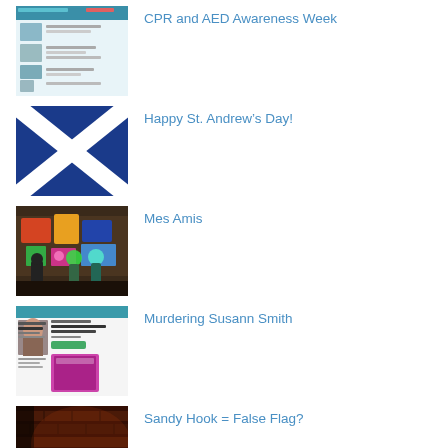[Figure (screenshot): Thumbnail screenshot of a webpage about CPR and AED Awareness Week]
CPR and AED Awareness Week
[Figure (photo): Scottish flag (Saltire) - white diagonal cross on blue background]
Happy St. Andrew’s Day!
[Figure (photo): People viewing colorful graffiti wall at night with glowing figures]
Mes Amis
[Figure (screenshot): Thumbnail of a memorial page for Susann (Horn) Smith with book cover]
Murdering Susann Smith
[Figure (photo): Dark brick wall with reddish lighting]
Sandy Hook = False Flag?